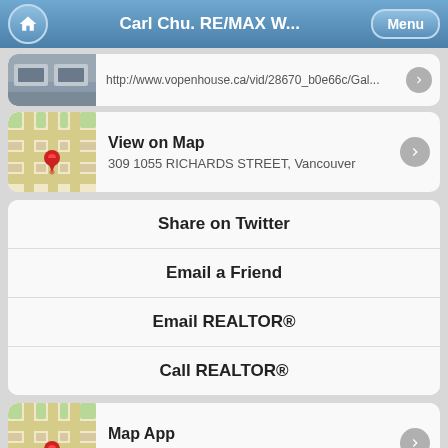Carl Chu. RE/MAX W...
http://www.vopenhouse.ca/vid/28670_b0e66c/Gal...
View on Map
309 1055 RICHARDS STREET, Vancouver
Share on Twitter
Email a Friend
Email REALTOR®
Call REALTOR®
Map App
View properties for sale near you on a map